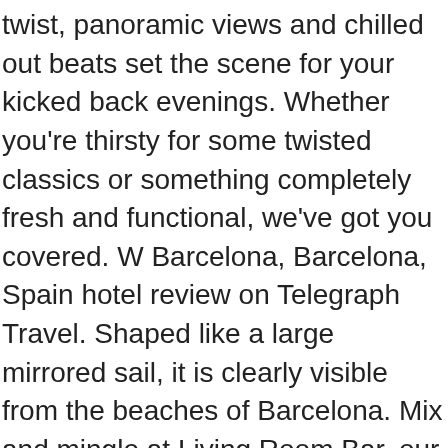twist, panoramic views and chilled out beats set the scene for your kicked back evenings. Whether you're thirsty for some twisted classics or something completely fresh and functional, we've got you covered. W Barcelona, Barcelona, Spain hotel review on Telegraph Travel. Shaped like a large mirrored sail, it is clearly visible from the beaches of Barcelona. Mix and mingle at Living Room Bar, our watering hole that evolves from a serene daytime lounge to a lively nighttime venue. Here at W Barcelona's 26th floor exclusive Sky Lounge & Cocktail Bar wrap-around windows offer breathtaking 360º views for tastemakers and global jetsetters to indulge in Barcelona's unique skyline and the endless blue of the Mediterranean Sea. Aquí, en l'exclusiu Sky Lounge & Cocktail Bar del pis 26 del W Barcelona, els grans finestrals ofereixen impressionants vistes